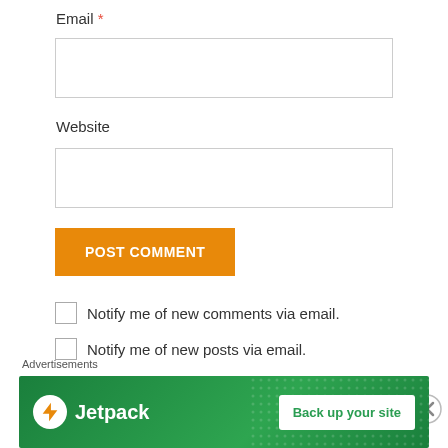Email *
[Figure (screenshot): Empty email input text field with thin border]
Website
[Figure (screenshot): Empty website input text field with thin border]
POST COMMENT
Notify me of new comments via email.
Notify me of new posts via email.
This site uses Akismet to reduce spam. Learn how
Advertisements
[Figure (screenshot): Jetpack advertisement banner with green background showing Jetpack logo and 'Back up your site' button]